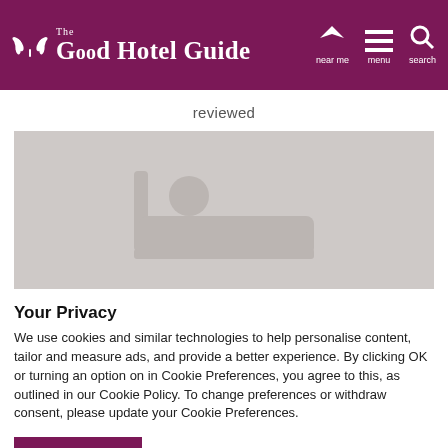The Good Hotel Guide — near me / menu / search
reviewed
[Figure (illustration): Hotel room placeholder image with a bed icon silhouette on a grey background]
Your Privacy
We use cookies and similar technologies to help personalise content, tailor and measure ads, and provide a better experience. By clicking OK or turning an option on in Cookie Preferences, you agree to this, as outlined in our Cookie Policy. To change preferences or withdraw consent, please update your Cookie Preferences.
OK   Cookie Preferences